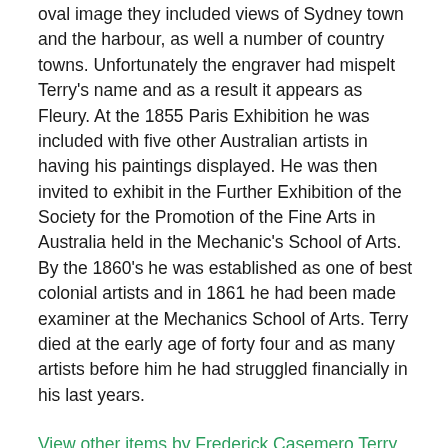oval image they included views of Sydney town and the harbour, as well a number of country towns. Unfortunately the engraver had mispelt Terry's name and as a result it appears as Fleury. At the 1855 Paris Exhibition he was included with five other Australian artists in having his paintings displayed. He was then invited to exhibit in the Further Exhibition of the Society for the Promotion of the Fine Arts in Australia held in the Mechanic's School of Arts. By the 1860's he was established as one of best colonial artists and in 1861 he had been made examiner at the Mechanics School of Arts. Terry died at the early age of forty four and as many artists before him he had struggled financially in his last years.
View other items by Frederick Casemero Terry